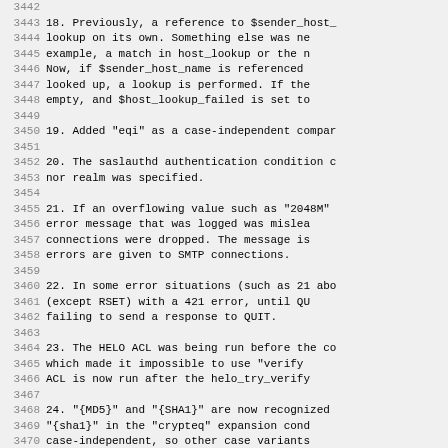3442-3474: Numbered list items describing software changelog entries for an email system (Exim), with line numbers displayed on the left.